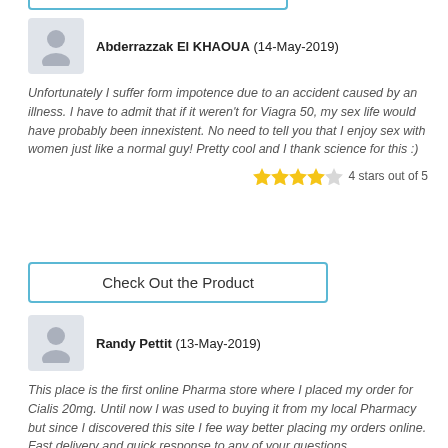Abderrazzak El KHAOUA (14-May-2019)
Unfortunately I suffer form impotence due to an accident caused by an illness. I have to admit that if it weren't for Viagra 50, my sex life would have probably been innexistent. No need to tell you that I enjoy sex with women just like a normal guy! Pretty cool and I thank science for this :)
4 stars out of 5
Check Out the Product
Randy Pettit (13-May-2019)
This place is the first online Pharma store where I placed my order for Cialis 20mg. Until now I was used to buying it from my local Pharmacy but since I discovered this site I fee way better placing my orders online. Fast delivery and quick response to any of your questions.